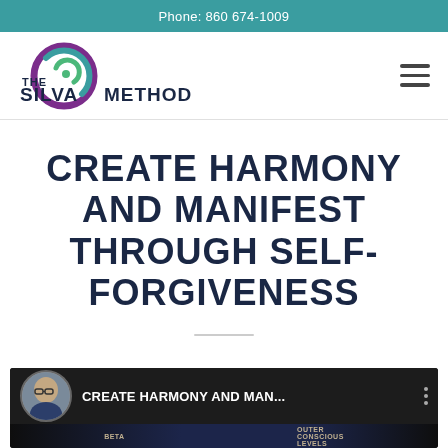Phone: 860 674-1009
[Figure (logo): The Silva Method logo with spiral graphic in purple, teal and green, and text 'THE SILVA METHOD']
CREATE HARMONY AND MANIFEST THROUGH SELF-FORGIVENESS
[Figure (screenshot): Video thumbnail showing a man with glasses in a circular avatar, title text 'CREATE HARMONY AND MAN...' on dark background with book images visible at bottom]